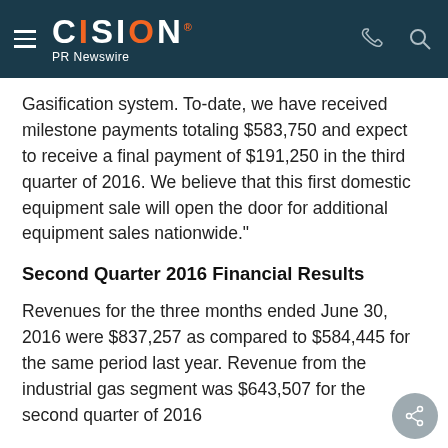CISION PR Newswire
Gasification system. To-date, we have received milestone payments totaling $583,750 and expect to receive a final payment of $191,250 in the third quarter of 2016. We believe that this first domestic equipment sale will open the door for additional equipment sales nationwide."
Second Quarter 2016 Financial Results
Revenues for the three months ended June 30, 2016 were $837,257 as compared to $584,445 for the same period last year. Revenue from the industrial gas segment was $643,507 for the second quarter of 2016